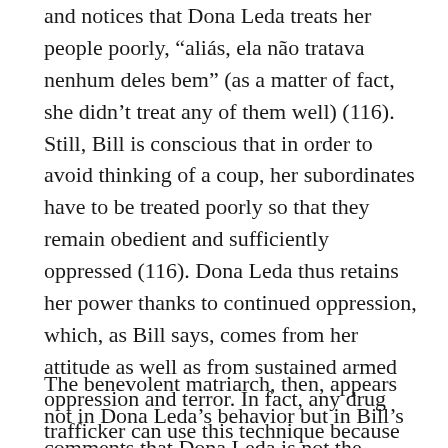and notices that Dona Leda treats her people poorly, “aliás, ela não tratava nenhum deles bem” (as a matter of fact, she didn’t treat any of them well) (116). Still, Bill is conscious that in order to avoid thinking of a coup, her subordinates have to be treated poorly so that they remain obedient and sufficiently oppressed (116). Dona Leda thus retains her power thanks to continued oppression, which, as Bill says, comes from her attitude as well as from sustained armed oppression and terror. In fact, any drug trafficker can use this technique because there are no gender differences; it is the technique Marta thinks her father used.
The benevolent matriarch, then, appears not in Dona Leda’s behavior but in Bill’s comments that Dona Leda is not the nurturing mother of the community who